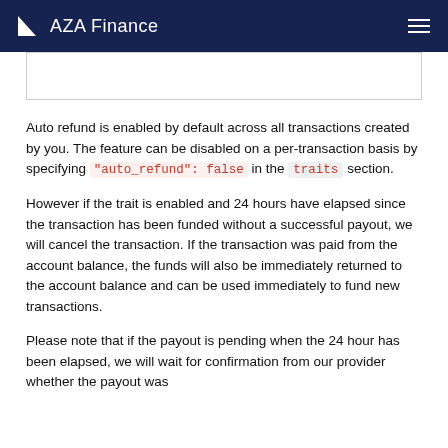AZA Finance
[Figure (screenshot): Code/UI box placeholder at top of content area]
Auto refund is enabled by default across all transactions created by you. The feature can be disabled on a per-transaction basis by specifying "auto_refund": false in the traits section.
However if the trait is enabled and 24 hours have elapsed since the transaction has been funded without a successful payout, we will cancel the transaction. If the transaction was paid from the account balance, the funds will also be immediately returned to the account balance and can be used immediately to fund new transactions.
Please note that if the payout is pending when the 24 hour has been elapsed, we will wait for confirmation from our provider whether the payout was...